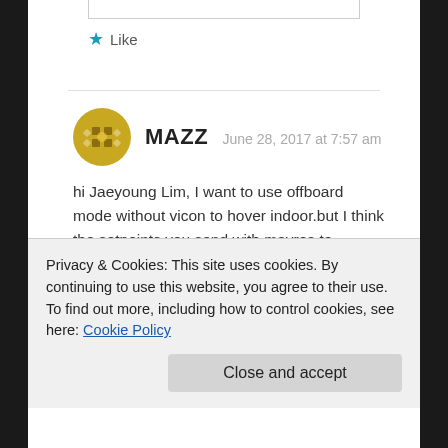Like
MAZZ  June 28, 2017 at 7:57 am
hi Jaeyoung Lim, I want to use offboard mode without vicon to hover indoor.but I think the setpoints you send with mavros to pixhawk use GPS date ?how can i hover indoor ?do you give me a example code takeoff indoor in offboard
Privacy & Cookies: This site uses cookies. By continuing to use this website, you agree to their use.
To find out more, including how to control cookies, see here: Cookie Policy
Close and accept